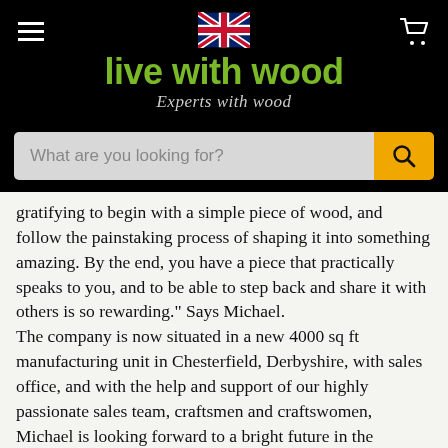[Figure (logo): Live with Wood logo featuring UK flag, green brand name text 'live with wood', and italic tagline 'Experts with wood' on black background]
gratifying to begin with a simple piece of wood, and follow the painstaking process of shaping it into something amazing. By the end, you have a piece that practically speaks to you, and to be able to step back and share it with others is so rewarding." Says Michael.
The company is now situated in a new 4000 sq ft manufacturing unit in Chesterfield, Derbyshire, with sales office, and with the help and support of our highly passionate sales team, craftsmen and craftswomen, Michael is looking forward to a bright future in the